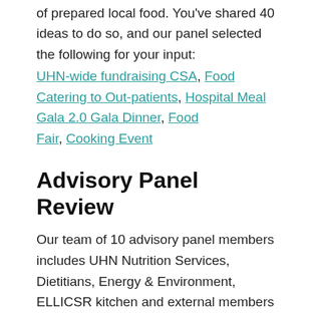of prepared local food. You've shared 40 ideas to do so, and our panel selected the following for your input:
UHN-wide fundraising CSA, Food Catering to Out-patients, Hospital Meal Gala 2.0 Gala Dinner, Food Fair, Cooking Event
Advisory Panel Review
Our team of 10 advisory panel members includes UHN Nutrition Services, Dietitians, Energy & Environment, ELLICSR kitchen and external members from the Canadian Coalition for Green Healthcare, Real Food for Real Kids and George Brown College. We have brainstormed selection criteria to identify 2-4 rapid prototypes to be implemented this winter. Here is the list we came up with: